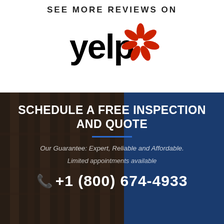SEE MORE REVIEWS ON
[Figure (logo): Yelp logo with red burst icon and black 'yelp' text]
SCHEDULE A FREE INSPECTION AND QUOTE
Our Guarantee: Expert, Reliable and Affordable.
Limited appointments available
+1 (800) 674-4933